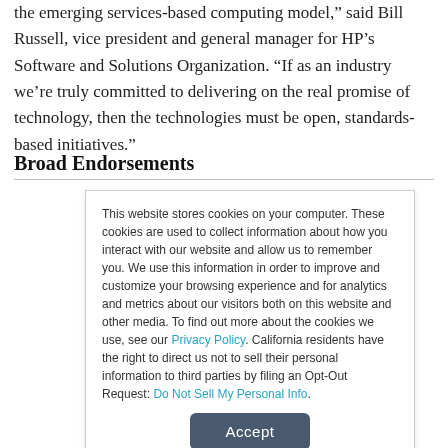the emerging services-based computing model,” said Bill Russell, vice president and general manager for HP’s Software and Solutions Organization. “If as an industry we’re truly committed to delivering on the real promise of technology, then the technologies must be open, standards-based initiatives.”
Broad Endorsements
This website stores cookies on your computer. These cookies are used to collect information about how you interact with our website and allow us to remember you. We use this information in order to improve and customize your browsing experience and for analytics and metrics about our visitors both on this website and other media. To find out more about the cookies we use, see our Privacy Policy. California residents have the right to direct us not to sell their personal information to third parties by filing an Opt-Out Request: Do Not Sell My Personal Info.
Accept